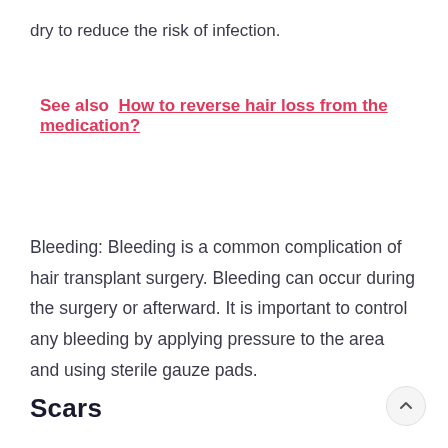dry to reduce the risk of infection.
See also  How to reverse hair loss from the medication?
Bleeding: Bleeding is a common complication of hair transplant surgery. Bleeding can occur during the surgery or afterward. It is important to control any bleeding by applying pressure to the area and using sterile gauze pads.
Scars